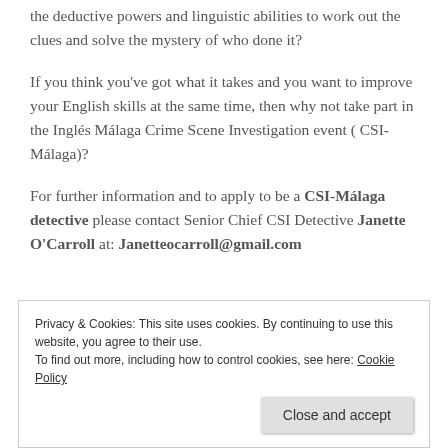the deductive powers and linguistic abilities to work out the clues and solve the mystery of who done it?
If you think you've got what it takes and you want to improve your English skills at the same time, then why not take part in the Inglés Málaga Crime Scene Investigation event ( CSI-Málaga)?
For further information and to apply to be a CSI-Málaga detective please contact Senior Chief CSI Detective Janette O'Carroll at: Janetteocarroll@gmail.com
Privacy & Cookies: This site uses cookies. By continuing to use this website, you agree to their use.
To find out more, including how to control cookies, see here: Cookie Policy
Close and accept